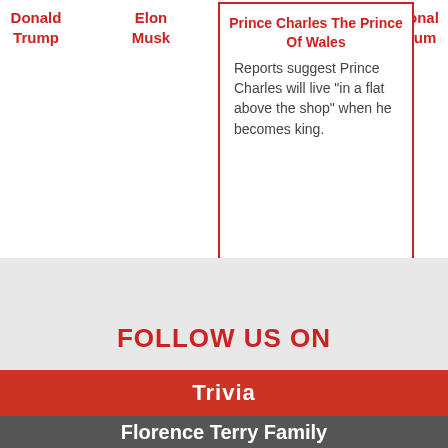Donald Trump
Elon Musk
Meghan Mountbatten Windsor, The Duchess of Sussex. Meghan Markle
Prince Charles The Prince Of Wales
Reports suggest Prince Charles will live "in a flat above the shop" when he becomes king.
Donald Trump
FOLLOW US ON
Trivia
Florence Terry Family